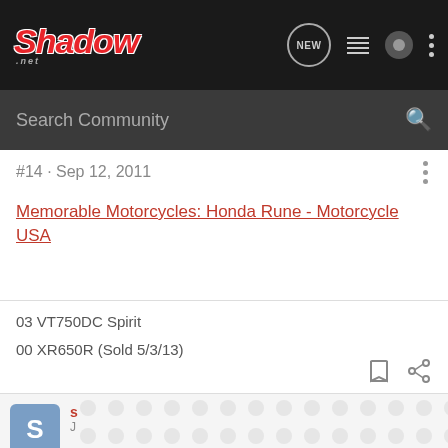Honda Shadow .net - Navigation bar with NEW, list, user, and more icons
Search Community
#14 · Sep 12, 2011
Memorable Motorcycles: Honda Rune - Motorcycle USA
03 VT750DC Spirit
00 XR650R (Sold 5/3/13)
S
J